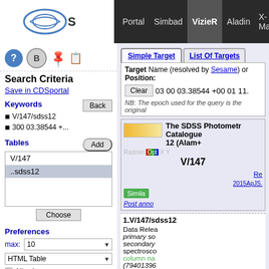CDS Portal | Simbad | VizieR | Aladin | X-Match | Other
VizieR
Search Criteria
Save in CDSportal
Keywords
V/147/sdss12
300 03.38544 +...
Tables
V/147
..sdss12
Preferences
max: 10
HTML Table
All columns
Compute
Distance p
Simple Target | List Of Targets
Target Name (resolved by Sesame) or Position:
Clear  03 00 03.38544 +00 01 11.
NB: The epoch used for the query is the original
The SDSS Photometric Catalogue 12 (Alam+
1.V/147/sdss12  Data Release primary so secondary spectroscopic column na (79401396